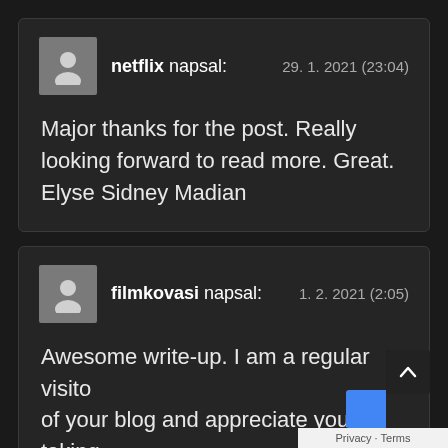netflix napsal:   29. 1. 2021 (23:04)
Major thanks for the post. Really looking forward to read more. Great. Elyse Sidney Madian
filmkovasi napsal:   1. 2. 2021 (2:05)
Awesome write-up. I am a regular visitor of your blog and appreciate you taking